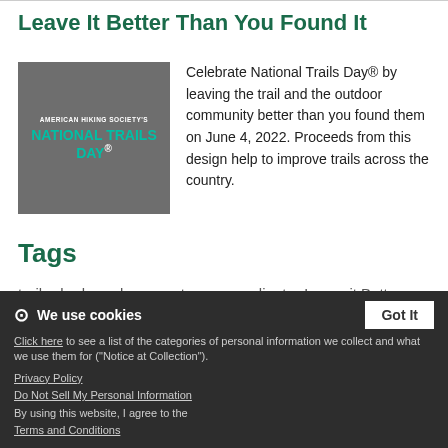Leave It Better Than You Found It
[Figure (logo): American Hiking Society's National Trails Day badge/logo on grey background with teal text]
Celebrate National Trails Day® by leaving the trail and the outdoor community better than you found them on June 4, 2022. Proceeds from this design help to improve trails across the country.
Tags
trail   badge   leave no trace   gradient   Leave it Better
smart landscape   Pocket   National Trails Day
American Hiking
We use cookies
Click here to see a list of the categories of personal information we collect and what we use them for ("Notice at Collection").
Privacy Policy
Do Not Sell My Personal Information
By using this website, I agree to the Terms and Conditions